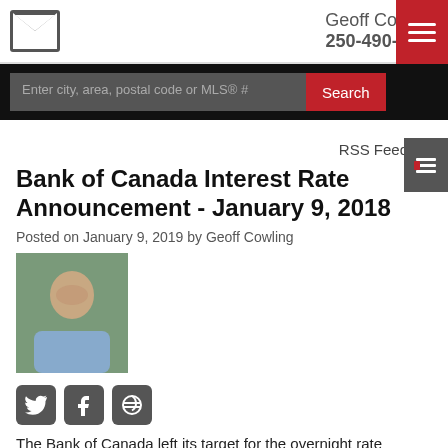Geoff Cowling 250-490-7272
Enter city, area, postal code or MLS® #
RSS Feed
Bank of Canada Interest Rate Announcement - January 9, 2018
Posted on January 9, 2019 by Geoff Cowling
[Figure (photo): Author photo of Geoff Cowling]
[Figure (infographic): Social media icons: Twitter, Facebook, Pinterest]
The Bank of Canada left its target for the overnight rate unchanged at